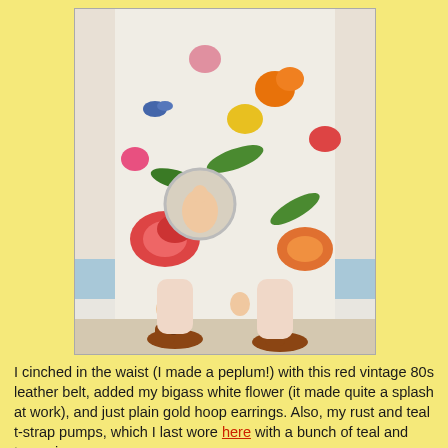[Figure (photo): A person wearing a colorful floral and pin-up print midi skirt and brown t-strap pumps, standing against a white wall with a blue baseboard. The skirt has large floral patterns, roses, birds, and vintage pin-up cameo illustrations. The person's torso is cropped out of frame.]
I cinched in the waist (I made a peplum!) with this red vintage 80s leather belt, added my bigass white flower (it made quite a splash at work), and just plain gold hoop earrings. Also, my rust and teal t-strap pumps, which I last wore here with a bunch of teal and turquoise